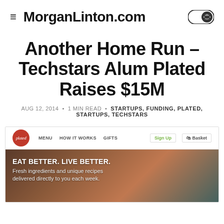MorganLinton.com
Another Home Run – Techstars Alum Plated Raises $15M
AUG 12, 2014 • 1 MIN READ • STARTUPS, FUNDING, PLATED, STARTUPS, TECHSTARS
[Figure (screenshot): Screenshot of the Plated website showing navigation bar with logo, menu items (MENU, HOW IT WORKS, GIFTS), Sign Up and Basket buttons, and hero image with text 'EAT BETTER. LIVE BETTER. Fresh ingredients and unique recipes delivered directly to you each week.']